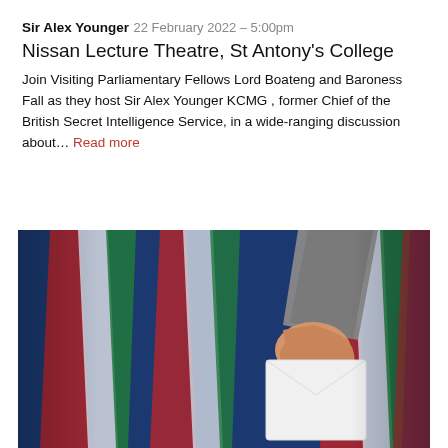Sir Alex Younger
22 February 2022 – 5:00pm
Nissan Lecture Theatre, St Antony's College
Join Visiting Parliamentary Fellows Lord Boateng and Baroness Fall as they host Sir Alex Younger KCMG , former Chief of the British Secret Intelligence Service, in a wide-ranging discussion about… Read more
[Figure (photo): A hand in a grey suit sleeve holding a white envelope in front of blurred flags (red, white, green) on a dark blue background — suggesting a ballot or voting scene.]